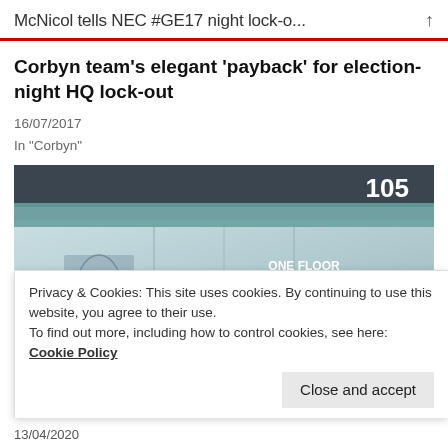McNicol tells NEC #GE17 night lock-o...
Corbyn team's elegant 'payback' for election-night HQ lock-out
16/07/2017
In "Corbyn"
[Figure (photo): Exterior photo of a commercial building with glass facade showing 'ONE FLOOR AVAILABLE' sign, people walking in front, number 105 visible in top right corner.]
Privacy & Cookies: This site uses cookies. By continuing to use this website, you agree to their use.
To find out more, including how to control cookies, see here: Cookie Policy
Close and accept
13/04/2020